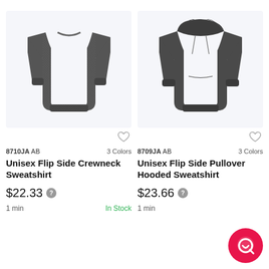[Figure (photo): Dark grey heathered crewneck sweatshirt on white/light background]
[Figure (photo): Dark grey heathered pullover hooded sweatshirt on white/light background]
8710JA AB   3 Colors
8709JA AB   3 Colors
Unisex Flip Side Crewneck Sweatshirt
Unisex Flip Side Pullover Hooded Sweatshirt
$22.33
$23.66
1 min
In Stock
1 min